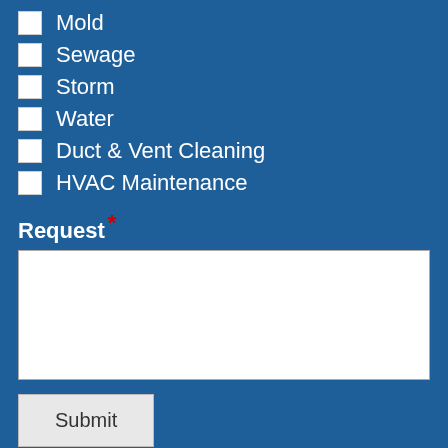Mold
Sewage
Storm
Water
Duct & Vent Cleaning
HVAC Maintenance
Request *
Submit